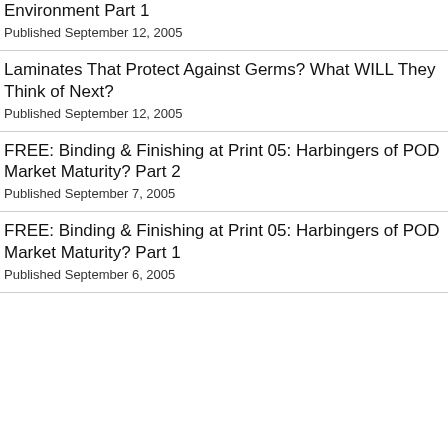Environment Part 1
Published September 12, 2005
Laminates That Protect Against Germs? What WILL They Think of Next?
Published September 12, 2005
FREE: Binding & Finishing at Print 05: Harbingers of POD Market Maturity? Part 2
Published September 7, 2005
FREE: Binding & Finishing at Print 05: Harbingers of POD Market Maturity? Part 1
Published September 6, 2005